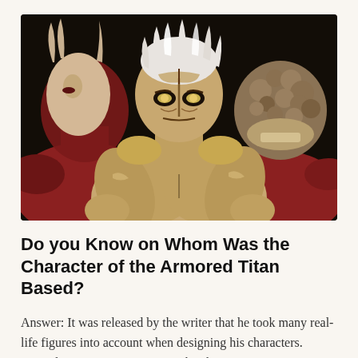[Figure (illustration): Anime illustration from Attack on Titan showing three titans: the Armored Titan in the center with white hair and armored skin, flanked by two other titans, one on the left with a red muscular face and one on the right with a rocky textured head, set against a dark background.]
Do you Know on Whom Was the Character of the Armored Titan Based?
Answer: It was released by the writer that he took many real-life figures into account when designing his characters. According to Hajime Isayama, the character